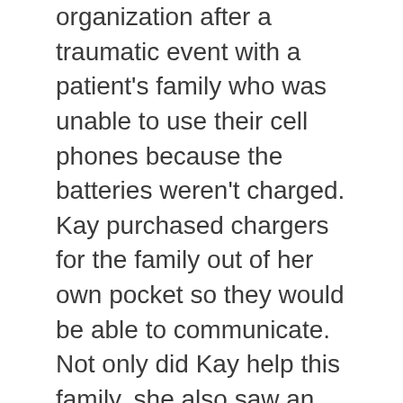organization after a traumatic event with a patient's family who was unable to use their cell phones because the batteries weren't charged. Kay purchased chargers for the family out of her own pocket so they would be able to communicate. Not only did Kay help this family, she also saw an opportunity for others in the same situation. She located resources and wrote a grant so that charging stations can be located in waiting and patient rooms. Now that